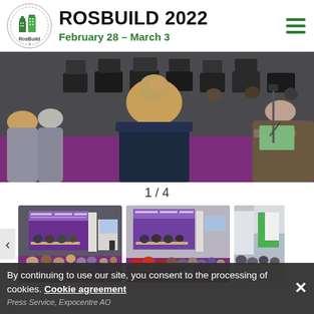ROSBUILD 2022 / February 28 – March 3
[Figure (photo): People seated at a conference/exhibition session, viewed from behind, with purple seating visible, at the Rosbuild 2022 event.]
1 / 4
[Figure (photo): Thumbnail 1: Conference room with panel seated at table in front of branded backdrop, audience seated facing them.]
[Figure (photo): Thumbnail 2: Similar conference session with more audience members, purple-branded backdrop visible.]
[Figure (photo): Thumbnail 3 (partial): Exhibition booth with large green 'L' logo, people standing around.]
By continuing to use our site, you consent to the processing of cookies. Cookie agreement
Press Service, Expocentre AO